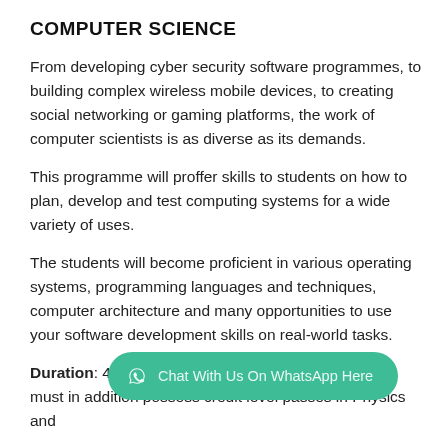COMPUTER SCIENCE
From developing cyber security software programmes, to building complex wireless mobile devices, to creating social networking or gaming platforms, the work of computer scientists is as diverse as its demands.
This programme will proffer skills to students on how to plan, develop and test computing systems for a wide variety of uses.
The students will become proficient in various operating systems, programming languages and techniques, computer architecture and many opportunities to use your software development skills on real-world tasks.
Duration: 4 years, Degree ... must in addition possess credit level passes in Physics and